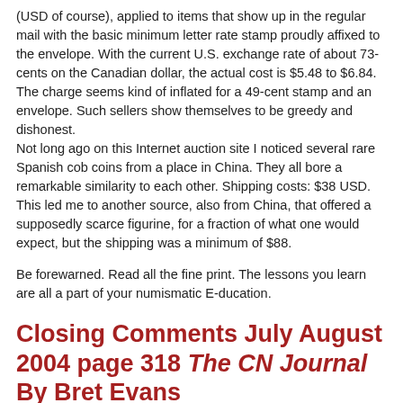(USD of course), applied to items that show up in the regular mail with the basic minimum letter rate stamp proudly affixed to the envelope. With the current U.S. exchange rate of about 73-cents on the Canadian dollar, the actual cost is $5.48 to $6.84. The charge seems kind of inflated for a 49-cent stamp and an envelope. Such sellers show themselves to be greedy and dishonest.
Not long ago on this Internet auction site I noticed several rare Spanish cob coins from a place in China. They all bore a remarkable similarity to each other. Shipping costs: $38 USD. This led me to another source, also from China, that offered a supposedly scarce figurine, for a fraction of what one would expect, but the shipping was a minimum of $88.
Be forewarned. Read all the fine print. The lessons you learn are all a part of your numismatic E-ducation.
Closing Comments July August 2004 page 318 The CN Journal
By Bret Evans